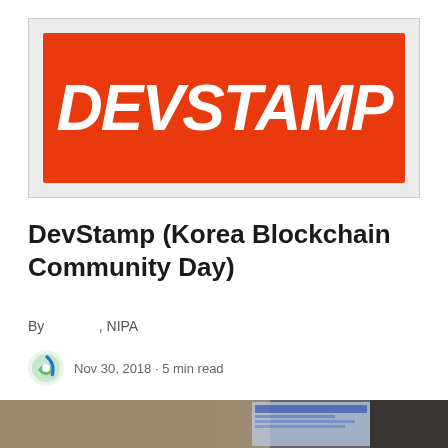[Figure (logo): DevStamp logo — white bold italic text 'DEVSTAMP' on a red/orange background, inside a light gray bordered container]
DevStamp (Korea Blockchain Community Day)
By , NIPA
Nov 30, 2018 · 5 min read
[Figure (photo): Partial photo of a conference/meeting room with a screen showing a presentation, and a person visible on the right side]